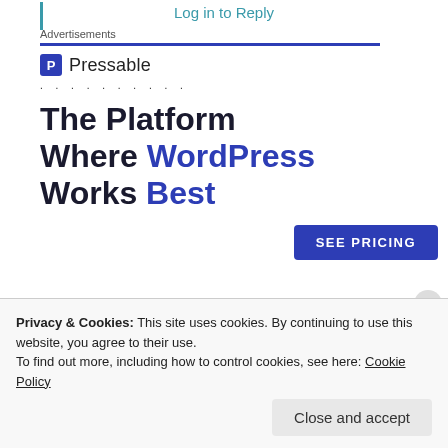Log in to Reply
Advertisements
[Figure (logo): Pressable logo with blue P icon and text 'Pressable']
. . . . . . . . . .
The Platform Where WordPress Works Best
SEE PRICING
REPORT THIS AD
Privacy & Cookies: This site uses cookies. By continuing to use this website, you agree to their use.
To find out more, including how to control cookies, see here: Cookie Policy
Close and accept